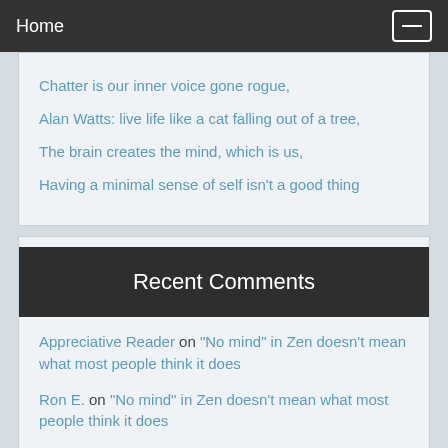Home
Chatter is our inner voice gone rogue,
Alan Watts: live life like a cat falling out of a tree,
The brain creates the mind, which is us,
Having a minimal sense of self isn't a good thing
Recent Comments
Appreciative Reader on "No mind" in Zen doesn't mean what most people think it does
Ron E. on "No mind" in Zen doesn't mean what most people think it does
Dungeness on Science says about dark energy: "So